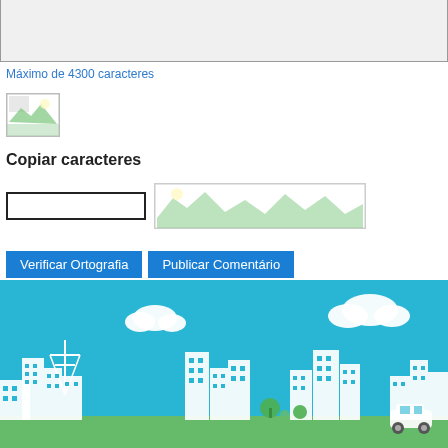[Figure (screenshot): Grey textarea input box at top of page]
Máximo de 4300 caracteres
[Figure (screenshot): Small image/icon placeholder]
Copiar caracteres
[Figure (screenshot): CAPTCHA input field and image placeholder side by side]
[Figure (screenshot): Two blue buttons: Verificar Ortografia and Publicar Comentário]
O dono deste Blog optou por gravar os IPs de quem comenta os seus posts.
[Figure (illustration): City skyline illustration with blue sky, white buildings, clouds, green grass, and a white car]